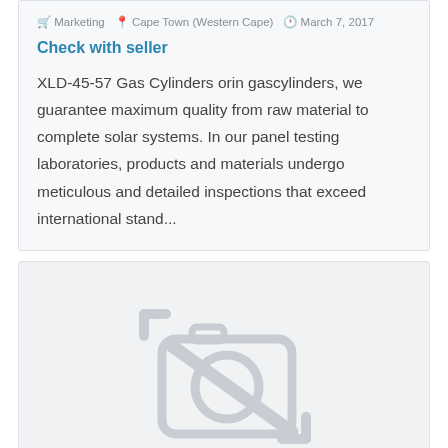Marketing  Cape Town (Western Cape)  March 7, 2017
Check with seller
XLD-45-57 Gas Cylinders orin gascylinders, we guarantee maximum quality from raw material to complete solar systems. In our panel testing laboratories, products and materials undergo meticulous and detailed inspections that exceed international stand...
[Figure (photo): No photo available placeholder image with camera icon]
...